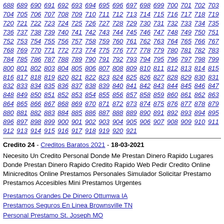688 689 690 691 692 693 694 695 696 697 698 699 700 701 702 703 704 705 706 707 708 709 710 711 712 713 714 715 716 717 718 719 720 721 722 723 724 725 726 727 728 729 730 731 732 733 734 735 736 737 738 739 740 741 742 743 744 745 746 747 748 749 750 751 752 753 754 755 756 757 758 759 760 761 762 763 764 765 766 767 768 769 770 771 772 773 774 775 776 777 778 779 780 781 782 783 784 785 786 787 788 789 790 791 792 793 794 795 796 797 798 799 800 801 802 803 804 805 806 807 808 809 810 811 812 813 814 815 816 817 818 819 820 821 822 823 824 825 826 827 828 829 830 831 832 833 834 835 836 837 838 839 840 841 842 843 844 845 846 847 848 849 850 851 852 853 854 855 856 857 858 859 860 861 862 863 864 865 866 867 868 869 870 871 872 873 874 875 876 877 878 879 880 881 882 883 884 885 886 887 888 889 890 891 892 893 894 895 896 897 898 899 900 901 902 903 904 905 906 907 908 909 910 911 912 913 914 915 916 917 918 919 920 921
Credito 24 - Creditos Baratos 2021 - 18-03-2021
Necesito Un Credito Personal Donde Me Prestan Dinero Rapido Lugares Donde Prestan Dinero Rapido Credito Rapido Web Pedir Credito Online Minicreditos Online Prestamos Personales Simulador Solicitar Prestamo Prestamos Accesibles Mini Prestamos Urgentes
Prestamos Grandes De Dinero Ottumwa IA
Prestamos Seguros En Linea Brownsville TN
Personal Prestamo St. Joseph MO
Como Saber El Credito En Personal Companias Que Prestan Dinero Creditos Personales Online